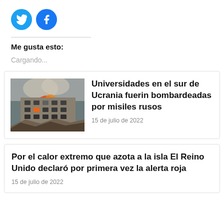[Figure (logo): Twitter and Facebook social share icons (circular blue buttons with bird and f logos)]
Me gusta esto:
Cargando...
[Figure (photo): Bombed university building in Ukraine with fire and rubble]
Universidades en el sur de Ucrania fuerin bombardeadas por misiles rusos
15 de julio de 2022
Por el calor extremo que azota a la isla El Reino Unido declaró por primera vez la alerta roja
15 de julio de 2022